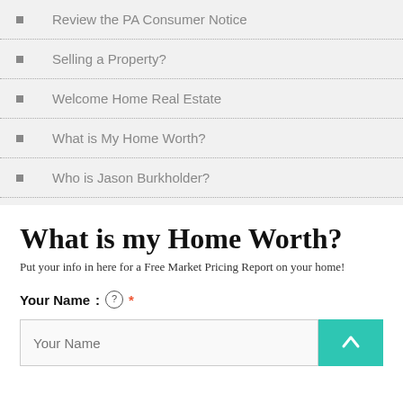Review the PA Consumer Notice
Selling a Property?
Welcome Home Real Estate
What is My Home Worth?
Who is Jason Burkholder?
What is my Home Worth?
Put your info in here for a Free Market Pricing Report on your home!
Your Name : ⓘ *
Your Name